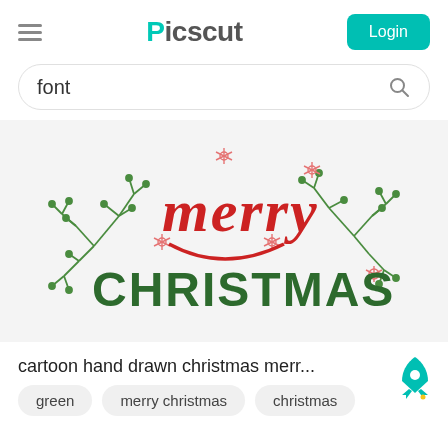Picscut
font
[Figure (illustration): Merry Christmas decorative SVG illustration with red script 'merry' text, dark green 'CHRISTMAS' block letters, green botanical branch decorations, and red snowflake accents on a light gray background]
cartoon hand drawn christmas merr...
green
merry christmas
christmas